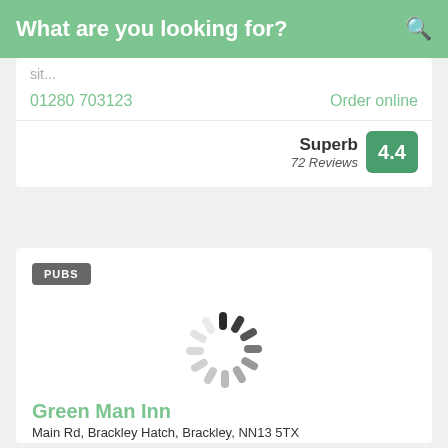What are you looking for?
sit...
01280 703123
Order online
Superb 72 Reviews 4.4
PUBS
[Figure (other): Loading spinner animation]
Green Man Inn
Main Rd, Brackley Hatch, Brackley, NN13 5TX